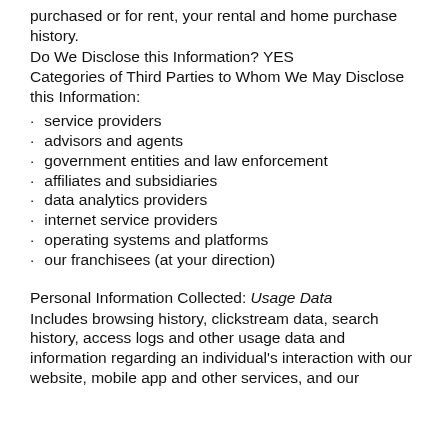purchased or for rent, your rental and home purchase history.
Do We Disclose this Information? YES
Categories of Third Parties to Whom We May Disclose this Information:
service providers
advisors and agents
government entities and law enforcement
affiliates and subsidiaries
data analytics providers
internet service providers
operating systems and platforms
our franchisees (at your direction)
Personal Information Collected: Usage Data
Includes browsing history, clickstream data, search history, access logs and other usage data and information regarding an individual's interaction with our website, mobile app and other services, and our